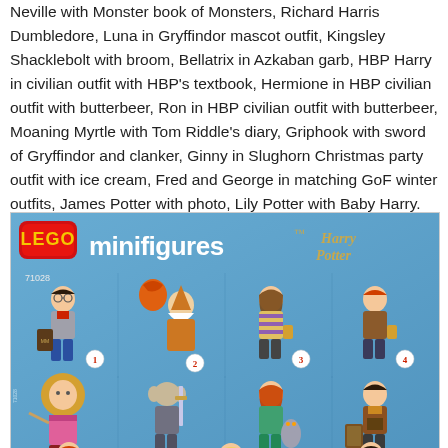Neville with Monster book of Monsters, Richard Harris Dumbledore, Luna in Gryffindor mascot outfit, Kingsley Shacklebolt with broom, Bellatrix in Azkaban garb, HBP Harry in civilian outfit with HBP's textbook, Hermione in HBP civilian outfit with butterbeer, Ron in HBP civilian outfit with butterbeer, Moaning Myrtle with Tom Riddle's diary, Griphook with sword of Gryffindor and clanker, Ginny in Slughorn Christmas party outfit with ice cream, Fred and George in matching GoF winter outfits, James Potter with photo, Lily Potter with Baby Harry.
[Figure (photo): LEGO Minifigures Harry Potter series 71028 packaging showing multiple minifigures on a blue background. Top row shows 4 figures numbered 1-4, second row shows figures numbered 5-8, and partial third row visible at bottom.]